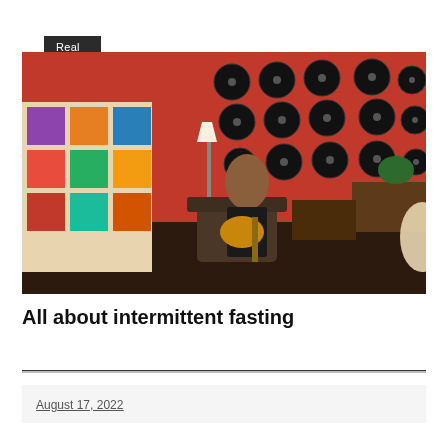Real Estate
[Figure (photo): A woman wearing a black hat and dress sits in a leather chair playing a guitar. Behind her is a red wall decorated with vinyl records, and to her left is a wall covered in colorful album covers. There is a lamp and a desk on either side of her, and a dark fur rug on the floor.]
All about intermittent fasting
August 17, 2022